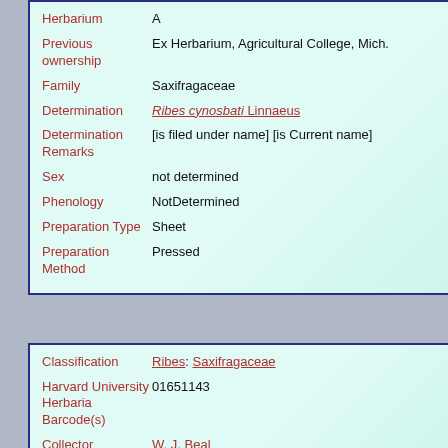| Field | Value |
| --- | --- |
| Herbarium | A |
| Previous ownership | Ex Herbarium, Agricultural College, Mich. |
| Family | Saxifragaceae |
| Determination | Ribes cynosbati Linnaeus |
| Determination Remarks | [is filed under name] [is Current name] |
| Sex | not determined |
| Phenology | NotDetermined |
| Preparation Type | Sheet |
| Preparation Method | Pressed |
| Field | Value |
| --- | --- |
| Classification | Ribes: Saxifragaceae |
| Harvard University Herbaria Barcode(s) | 01651143 |
| Collector | W. J. Beal |